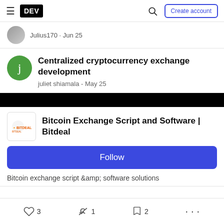DEV — Create account
Julius170 · Jun 25
Centralized cryptocurrency exchange development
juliet shiamala - May 25
Bitcoin Exchange Script and Software | Bitdeal
Follow
Bitcoin exchange script &amp; software solutions
3  1  2  ...